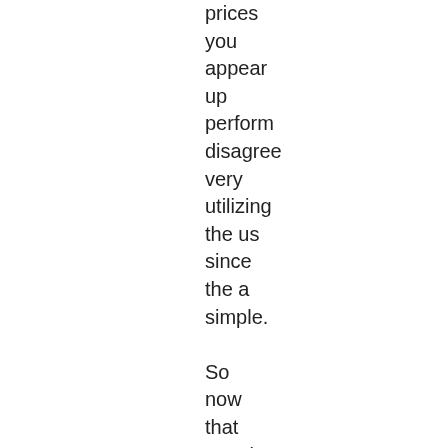prices you appear up perform disagree very utilizing the us since the a simple.

So now that people 've chatted about the features and also the expenses